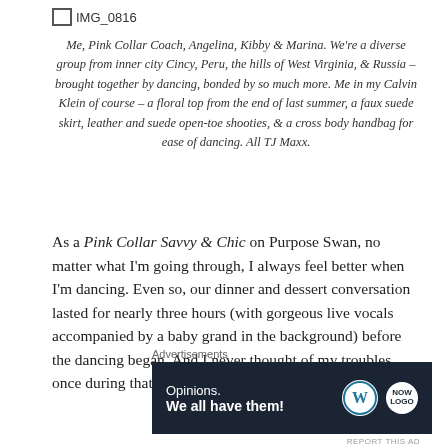[Figure (other): IMG_0816 image placeholder icon with label]
Me, Pink Collar Coach, Angelina, Kibby & Marina. We're a diverse group from inner city Cincy, Peru, the hills of West Virginia, & Russia – brought together by dancing, bonded by so much more. Me in my Calvin Klein of course – a floral top from the end of last summer, a faux suede skirt, leather and suede open-toe shooties, & a cross body handbag for ease of dancing. All TJ Maxx.
As a Pink Collar Savvy & Chic on Purpose Swan, no matter what I'm going through, I always feel better when I'm dancing. Even so, our dinner and dessert conversation lasted for nearly three hours (with gorgeous live vocals accompanied by a baby grand in the background) before the dancing began. And I never thought of my troubles once during that time.
Advertisements
[Figure (other): WordPress advertisement banner: 'Opinions. We all have them!' with WordPress and NOW logos on dark navy background]